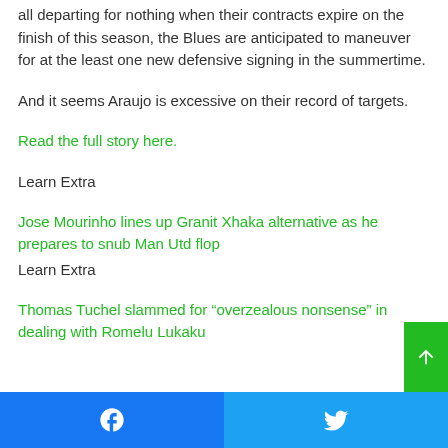all departing for nothing when their contracts expire on the finish of this season, the Blues are anticipated to maneuver for at the least one new defensive signing in the summertime.
And it seems Araujo is excessive on their record of targets.
Read the full story here.
Learn Extra
Jose Mourinho lines up Granit Xhaka alternative as he prepares to snub Man Utd flop
Learn Extra
Thomas Tuchel slammed for “overzealous nonsense” in dealing with Romelu Lukaku
Facebook | Twitter